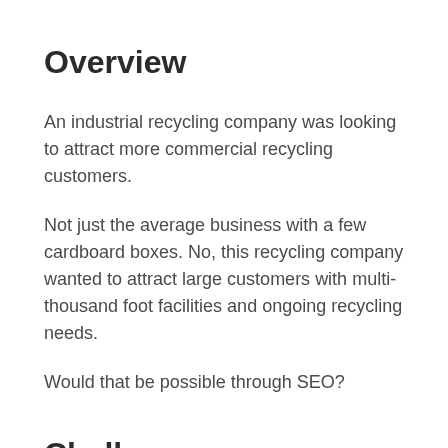Overview
An industrial recycling company was looking to attract more commercial recycling customers.
Not just the average business with a few cardboard boxes. No, this recycling company wanted to attract large customers with multi-thousand foot facilities and ongoing recycling needs.
Would that be possible through SEO?
Challenge